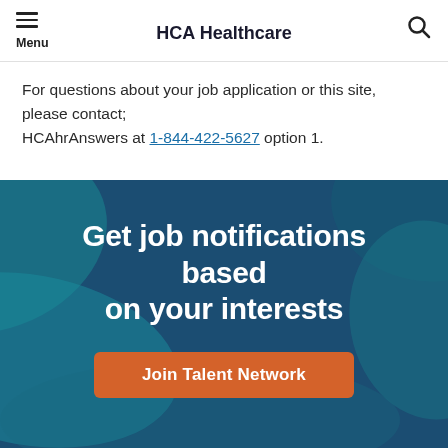HCA Healthcare
For questions about your job application or this site, please contact; HCAhrAnswers at 1-844-422-5627 option 1.
Get job notifications based on your interests